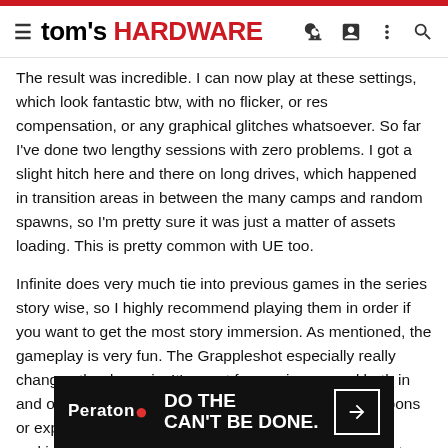tom's HARDWARE
The result was incredible. I can now play at these settings, which look fantastic btw, with no flicker, or res compensation, or any graphical glitches whatsoever. So far I've done two lengthy sessions with zero problems. I got a slight hitch here and there on long drives, which happened in transition areas in between the many camps and random spawns, so I'm pretty sure it was just a matter of assets loading. This is pretty common with UE too.
Infinite does very much tie into previous games in the series story wise, so I highly recommend playing them in order if you want to get the most story immersion. As mentioned, the gameplay is very fun. The Grappleshot especially really changes the dynamic. It's great for moving around both in and out of combat, but also grabbing out of reach weapons or explosive containers, shock stunning enemies, and making punches do more damage when you grapple onto enemies.
That said, the game also has some quirks. One of the biggest being navigating land vehicles over the very rugged terrain. It takes close
[Figure (infographic): Peraton advertisement banner: 'DO THE CAN'T BE DONE.' with arrow button on dark background]